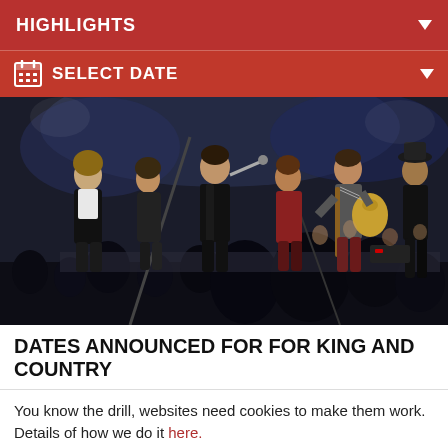HIGHLIGHTS
SELECT DATE
[Figure (photo): Concert photo showing a band performing on stage. Multiple musicians are visible including a vocalist singing into a microphone, a guitarist playing a yellow electric guitar, and other band members dancing/performing. An audience is visible in the foreground and background.]
DATES ANNOUNCED FOR FOR KING AND COUNTRY
You know the drill, websites need cookies to make them work. Details of how we do it here.
Got it!